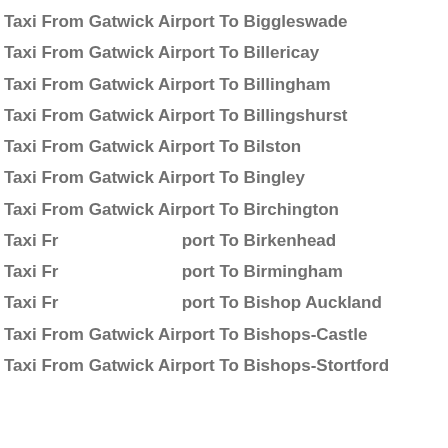Taxi From Gatwick Airport To Biggleswade
Taxi From Gatwick Airport To Billericay
Taxi From Gatwick Airport To Billingham
Taxi From Gatwick Airport To Billingshurst
Taxi From Gatwick Airport To Bilston
Taxi From Gatwick Airport To Bingley
Taxi From Gatwick Airport To Birchington
Taxi From Gatwick Airport To Birkenhead
Taxi From Gatwick Airport To Birmingham
Taxi From Gatwick Airport To Bishop Auckland
Taxi From Gatwick Airport To Bishops-Castle
Taxi From Gatwick Airport To Bishops-Stortford